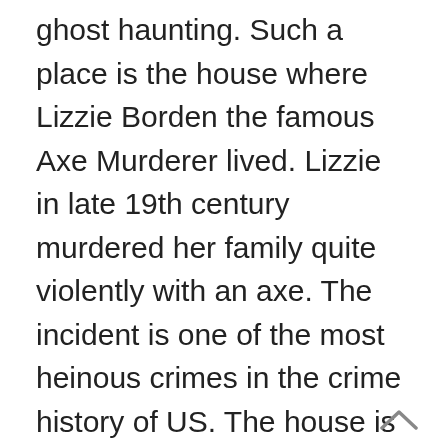ghost haunting. Such a place is the house where Lizzie Borden the famous Axe Murderer lived. Lizzie in late 19th century murdered her family quite violently with an axe. The incident is one of the most heinous crimes in the crime history of US. The house is a tourist attraction in Fall River. But visitors report that when they visit the place alone a sense of despair and deep uneasiness takes over. Some even have reported an uncanny sensation of being watched in this house.
[Figure (other): A chevron/caret up arrow icon in the bottom right corner]